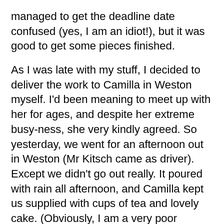managed to get the deadline date confused (yes, I am an idiot!), but it was good to get some pieces finished.
As I was late with my stuff, I decided to deliver the work to Camilla in Weston myself. I'd been meaning to meet up with her for ages, and despite her extreme busy-ness, she very kindly agreed. So yesterday, we went for an afternoon out in Weston (Mr Kitsch came as driver). Except we didn't go out really. It poured with rain all afternoon, and Camilla kept us supplied with cups of tea and lovely cake. (Obviously, I am a very poor blogger for not photographing the beautiful cake on the gorgeous vintage china, but quite frankly, I was far more preoccupied with stuffing my face. So no photo. But take my word for it, it looked beautiful and tasted even better!) She has so much wonderful art and kitsch in her home - I could have spent all day looking round. It was an extremely pleasant afternoon, and a big thank you to her for putting up with us!
We did manage to visit the venue for the Sweet Shoppe - a wonderful little black and white building by Birnbeck Pier (the very old pier in Weston, not the one that burnt down.) We got